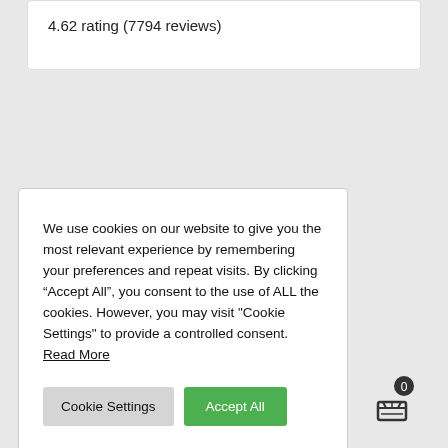4.62 rating (7794 reviews)
We use cookies on our website to give you the most relevant experience by remembering your preferences and repeat visits. By clicking “Accept All”, you consent to the use of ALL the cookies. However, you may visit "Cookie Settings" to provide a controlled consent. Read More
Cookie Settings
Accept All